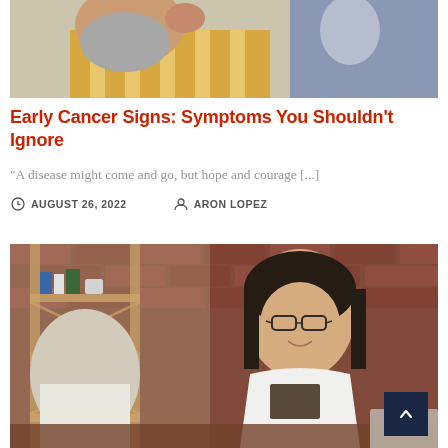[Figure (photo): Close-up of an older bearded man in a yellow striped shirt, hand raised near his face, appearing concerned or thoughtful, with a blurred background]
Early Cancer Signs: Symptoms You Shouldn't Ignore
“A disease might come and go, but hope and courage [...]
AUGUST 26, 2022   ARON LOPEZ
[Figure (photo): A smiling woman with dark hair and glasses wearing a white blouse, sitting across from a man at a desk with a brick wall and wooden shelf in the background, appearing to be in a consultation or meeting]